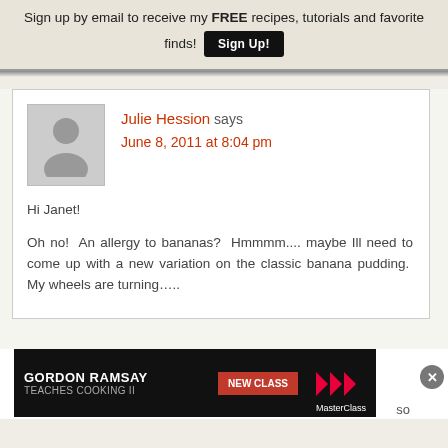Sign up by email to receive my FREE recipes, tutorials and favorite finds!  Sign Up!
Julie Hession says
June 8, 2011 at 8:04 pm
Hi Janet!
Oh no!  An allergy to bananas?  Hmmmm....maybe Ill need to come up with a new variation on the classic banana pudding.  My wheels are turning…..
[Figure (screenshot): Gordon Ramsay Teaches Cooking II advertisement banner with MasterClass logo and New Class button]